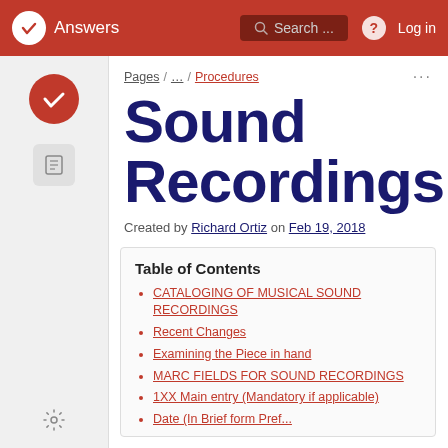Answers | Search... | Log in
Pages / ... / Procedures
Sound Recordings
Created by Richard Ortiz on Feb 19, 2018
Table of Contents
CATALOGING OF MUSICAL SOUND RECORDINGS
Recent Changes
Examining the Piece in hand
MARC FIELDS FOR SOUND RECORDINGS
1XX Main entry (Mandatory if applicable)
Date (In Brief form Pref...